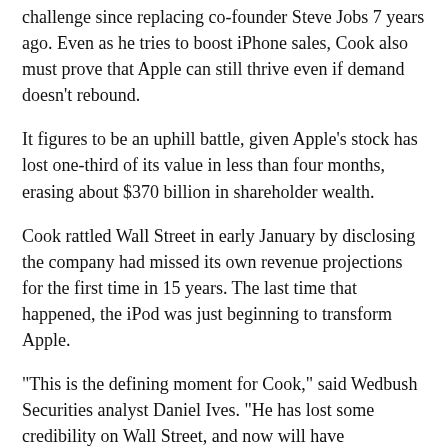challenge since replacing co-founder Steve Jobs 7 years ago. Even as he tries to boost iPhone sales, Cook also must prove that Apple can still thrive even if demand doesn't rebound.
It figures to be an uphill battle, given Apple's stock has lost one-third of its value in less than four months, erasing about $370 billion in shareholder wealth.
Cook rattled Wall Street in early January by disclosing the company had missed its own revenue projections for the first time in 15 years. The last time that happened, the iPod was just beginning to transform Apple.
"This is the defining moment for Cook," said Wedbush Securities analyst Daniel Ives. "He has lost some credibility on Wall Street, and now will have